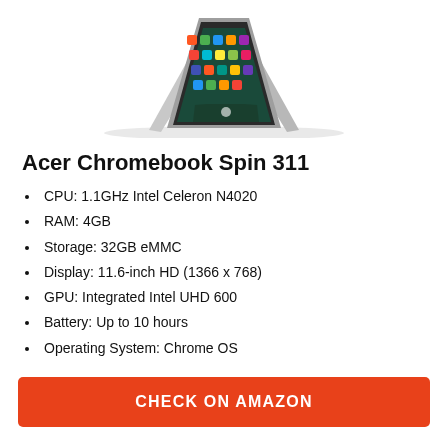[Figure (photo): Acer Chromebook Spin 311 laptop in tent mode, showing colorful Android/Chrome OS app icons on screen, silver body, viewed from front-left angle.]
Acer Chromebook Spin 311
CPU: 1.1GHz Intel Celeron N4020
RAM: 4GB
Storage: 32GB eMMC
Display: 11.6-inch HD (1366 x 768)
GPU: Integrated Intel UHD 600
Battery: Up to 10 hours
Operating System: Chrome OS
CHECK ON AMAZON